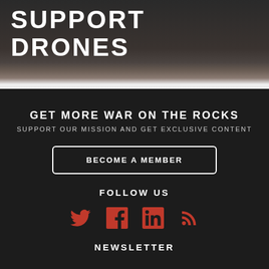[Figure (photo): Dark background image with text overlay showing 'SUPPORT DRONES' in large white uppercase letters]
SUPPORT DRONES
GET MORE WAR ON THE ROCKS
SUPPORT OUR MISSION AND GET EXCLUSIVE CONTENT
BECOME A MEMBER
FOLLOW US
[Figure (infographic): Four social media icons in red: Twitter bird, Facebook f, LinkedIn in, RSS feed]
NEWSLETTER